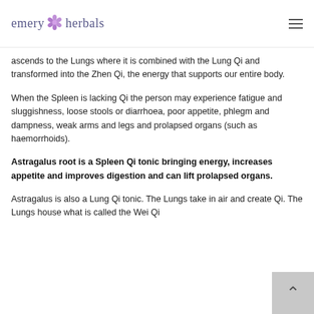emery herbals
ascends to the Lungs where it is combined with the Lung Qi and transformed into the Zhen Qi, the energy that supports our entire body.
When the Spleen is lacking Qi the person may experience fatigue and sluggishness, loose stools or diarrhoea, poor appetite, phlegm and dampness, weak arms and legs and prolapsed organs (such as haemorrhoids).
Astragalus root is a Spleen Qi tonic bringing energy, increases appetite and improves digestion and can lift prolapsed organs.
Astragalus is also a Lung Qi tonic. The Lungs take in air and create Qi. The Lungs house what is called the Wei Qi